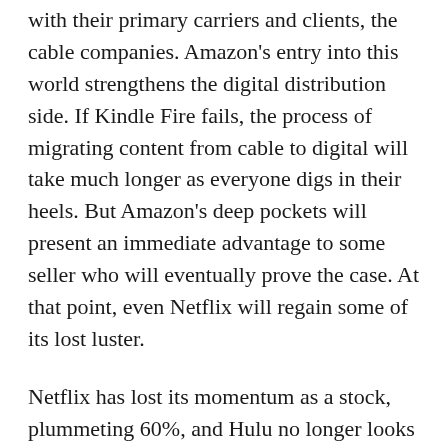with their primary carriers and clients, the cable companies. Amazon's entry into this world strengthens the digital distribution side. If Kindle Fire fails, the process of migrating content from cable to digital will take much longer as everyone digs in their heels. But Amazon's deep pockets will present an immediate advantage to some seller who will eventually prove the case. At that point, even Netflix will regain some of its lost luster.
Netflix has lost its momentum as a stock, plummeting 60%, and Hulu no longer looks like it will find a buyer. Amazon's new Kindle puts a lot of pressure on both companies. The good news is that having Amazon as an alternative will give producers more than one bidder for their content. In the short term, that massively reduces expectations for Netflix. In